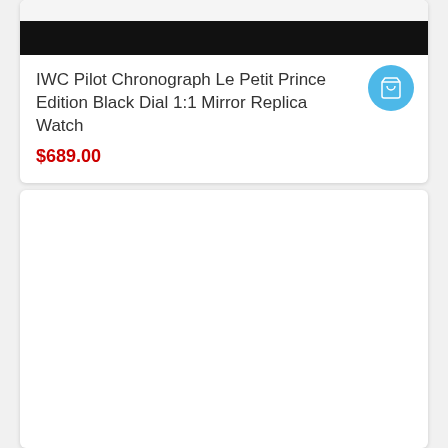[Figure (screenshot): Product card top section showing a black redacted image bar at the top]
IWC Pilot Chronograph Le Petit Prince Edition Black Dial 1:1 Mirror Replica Watch
$689.00
[Figure (screenshot): Second product card, empty/blank white card below]